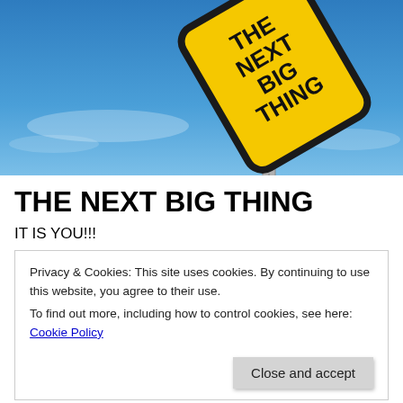[Figure (photo): Yellow diamond road sign reading 'THE NEXT BIG THING' against a blue sky background with a metal pole]
THE NEXT BIG THING
IT IS YOU!!!
Privacy & Cookies: This site uses cookies. By continuing to use this website, you agree to their use.
To find out more, including how to control cookies, see here: Cookie Policy
[Close and accept button]
the family, special but special in a way that some people in